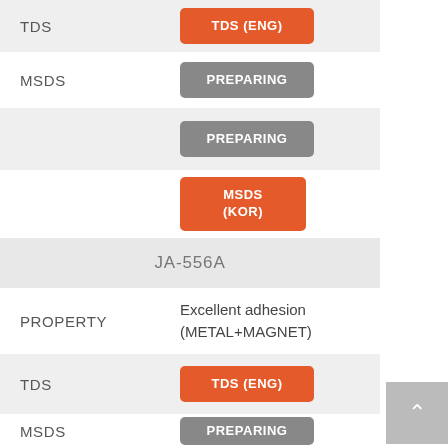| Field | Value |
| --- | --- |
| TDS | TDS (ENG) |
| MSDS | PREPARING |
|  | PREPARING |
|  | MSDS (KOR) |
| JA-556A |  |
| PROPERTY | Excellent adhesion (METAL+MAGNET) |
| TDS | TDS (ENG) |
| MSDS | PREPARING |